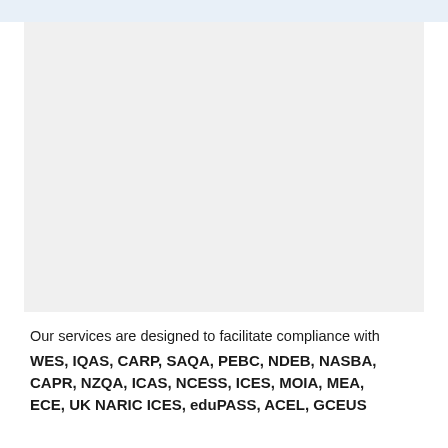[Figure (other): Large image placeholder (white/light gray rectangle representing a photo or diagram)]
Our services are designed to facilitate compliance with WES, IQAS, CARP, SAQA, PEBC, NDEB, NASBA, CAPR, NZQA, ICAS, NCESS, ICES, MOIA, MEA, ECE, UK NARIC ICES, eduPASS, ACEL, GCEUS